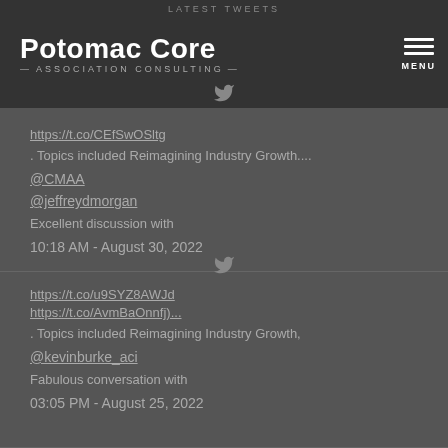LATEST TWEETS
[Figure (logo): Potomac Core Association Consulting logo with white text on dark background]
https://t.co/CEfSwOSltg
. Topics included Reimagining Industry Growth....
@CMAA
@jeffreydmorgan
Excellent discussion with
10:18 AM - August 30, 2022
https://t.co/u9SYZ8AWJd
https://t.co/AvmBaOnnfj)...
. Topics included Reimagining Industry Growth,
@kevinburke_aci
Fabulous conversation with
03:05 PM - August 25, 2022